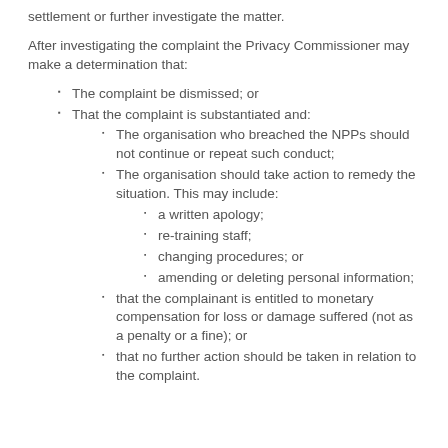settlement or further investigate the matter.
After investigating the complaint the Privacy Commissioner may make a determination that:
The complaint be dismissed; or
That the complaint is substantiated and:
The organisation who breached the NPPs should not continue or repeat such conduct;
The organisation should take action to remedy the situation. This may include:
a written apology;
re-training staff;
changing procedures; or
amending or deleting personal information;
that the complainant is entitled to monetary compensation for loss or damage suffered (not as a penalty or a fine); or
that no further action should be taken in relation to the complaint.